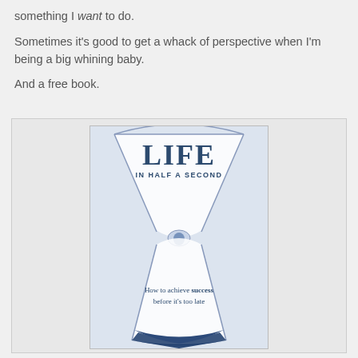something I want to do.
Sometimes it's good to get a whack of perspective when I'm being a big whining baby.
And a free book.
[Figure (photo): Photo of the book 'Life in Half a Second - How to achieve success before it's too late', showing an hourglass design on the cover.]